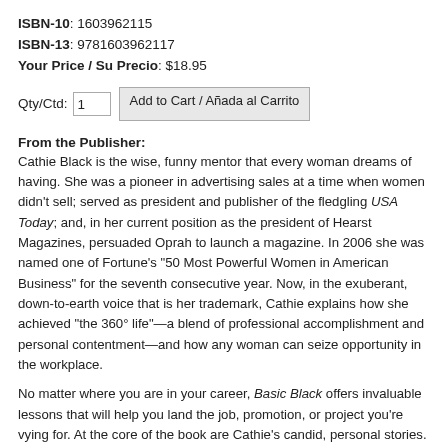ISBN-10: 1603962115
ISBN-13: 9781603962117
Your Price / Su Precio: $18.95
Qty/Ctd: 1  Add to Cart / Añada al Carrito
From the Publisher:
Cathie Black is the wise, funny mentor that every woman dreams of having. She was a pioneer in advertising sales at a time when women didn't sell; served as president and publisher of the fledgling USA Today; and, in her current position as the president of Hearst Magazines, persuaded Oprah to launch a magazine. In 2006 she was named one of Fortune's "50 Most Powerful Women in American Business" for the seventh consecutive year. Now, in the exuberant, down-to-earth voice that is her trademark, Cathie explains how she achieved "the 360° life"—a blend of professional accomplishment and personal contentment—and how any woman can seize opportunity in the workplace.
No matter where you are in your career, Basic Black offers invaluable lessons that will help you land the job, promotion, or project you're vying for. At the core of the book are Cathie's candid, personal stories. She walks us through her decision to risk dropping a huge ad agency that handled the USA Today campaign in favor of a small boutique agency run by a wild man. (It was a smash.) She admits that her sometimes brusque